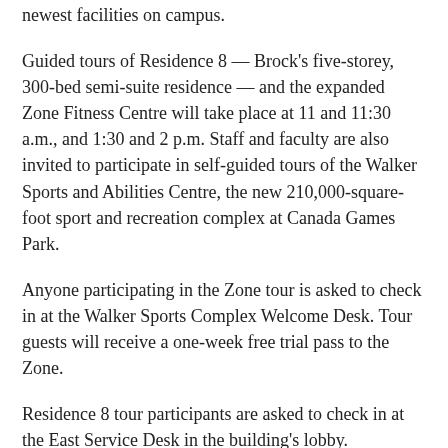newest facilities on campus.
Guided tours of Residence 8 — Brock's five-storey, 300-bed semi-suite residence — and the expanded Zone Fitness Centre will take place at 11 and 11:30 a.m., and 1:30 and 2 p.m. Staff and faculty are also invited to participate in self-guided tours of the Walker Sports and Abilities Centre, the new 210,000-square-foot sport and recreation complex at Canada Games Park.
Anyone participating in the Zone tour is asked to check in at the Walker Sports Complex Welcome Desk. Tour guests will receive a one-week free trial pass to the Zone.
Residence 8 tour participants are asked to check in at the East Service Desk in the building's lobby.
Tickets for the barbecue are $6 each and available until Friday, May 27 online through University Tickets. Menu choices include a vegan/vegetarian burger, mild sausage or a beef